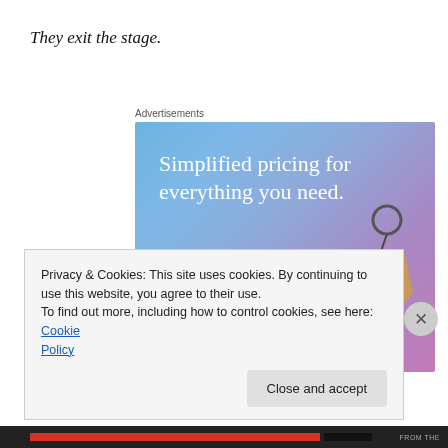They exit the stage.
Advertisements
[Figure (other): Website builder advertisement with gradient blue-purple background. Headline reads 'Simplified pricing for everything you need.' with a pink 'Build Your Website' button and a luggage tag graphic on the right.]
Privacy & Cookies: This site uses cookies. By continuing to use this website, you agree to their use.
To find out more, including how to control cookies, see here: Cookie Policy
Close and accept